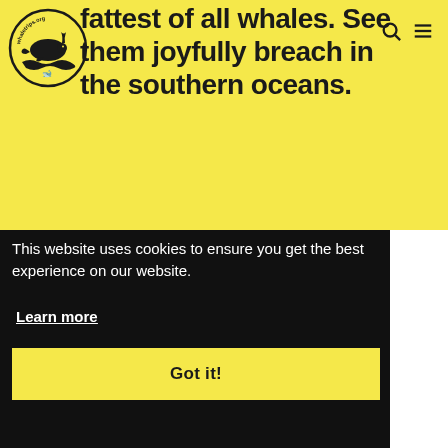[Figure (logo): Whaletrips.org circular logo with whale illustration]
fattest of all whales. See them joyfully breach in the southern oceans.
This website uses cookies to ensure you get the best experience on our website.
Learn more
Got it!